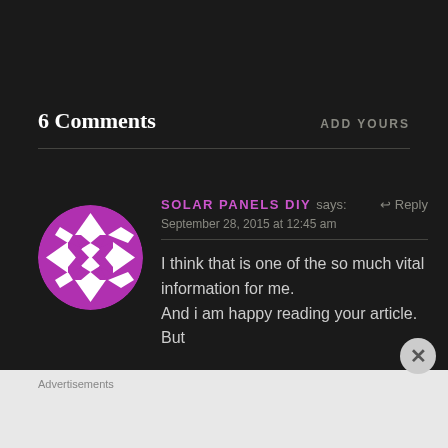6 Comments
ADD YOURS
[Figure (illustration): Purple and white geometric patterned circular avatar with quilt-like diamond star design]
SOLAR PANELS DIY says:
↩ Reply
September 28, 2015 at 12:45 am
I think that is one of the so much vital information for me. And i am happy reading your article. But
Advertisements